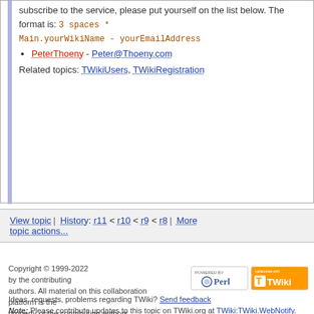subscribe to the service, please put yourself on the list below. The format is: 3 spaces *
Main.yourWikiName - yourEmailAddress
PeterThoeny - Peter@Thoeny.com
Related topics: TWikiUsers, TWikiRegistration
View topic | History: r11 < r10 < r9 < r8 | More topic actions...
Copyright © 1999-2022 by the contributing authors. All material on this collaboration platform is the property of the contributing authors. Ideas, requests, problems regarding TWiki? Send feedback Note: Please contribute updates to this topic on TWiki.org at TWiki:TWiki.WebNotify.